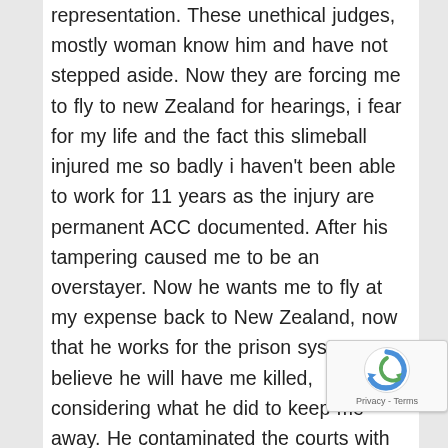representation. These unethical judges, mostly woman know him and have not stepped aside. Now they are forcing me to fly to new Zealand for hearings, i fear for my life and the fact this slimeball injured me so badly i haven't been able to work for 11 years as the injury are permanent ACC documented. After his tampering caused me to be an overstayer. Now he wants me to fly at my expense back to New Zealand, now that he works for the prison system. I believe he will have me killed, considering what he did to keep me away. He contaminated the courts with an email telling all of themwe broke up before we actually did. He cried the blues to all these gossip mongers.
This matter was pushed forth to hearings